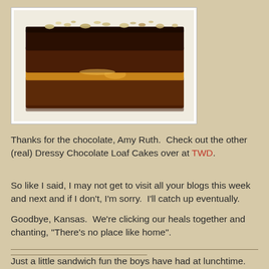[Figure (photo): A slice of chocolate layer cake with caramel filling and chopped nuts on top, on a white plate]
Thanks for the chocolate, Amy Ruth.  Check out the other (real) Dressy Chocolate Loaf Cakes over at TWD.
So like I said, I may not get to visit all your blogs this week and next and if I don't, I'm sorry.  I'll catch up eventually.
Goodbye, Kansas.  We're clicking our heals together and chanting, "There's no place like home".
Just a little sandwich fun the boys have had at lunchtime.